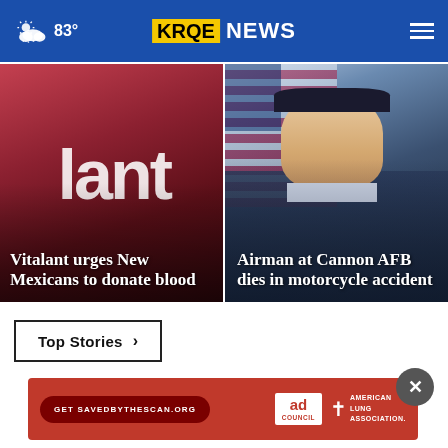KRQE NEWS — 83°
[Figure (photo): Vitalant blood donation center building exterior with large white text reading 'lant' on red background]
Vitalant urges New Mexicans to donate blood
[Figure (photo): Military airman in dress uniform with American flag in background]
Airman at Cannon AFB dies in motorcycle accident
Top Stories ▶
[Figure (other): Advertisement banner: Get SAVEDBYTHESCAN.ORG — Ad Council — American Lung Association]